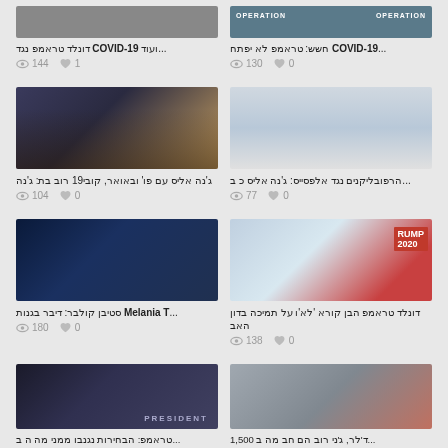[Figure (screenshot): News article card grid showing political/COVID-19 news articles in Hebrew with thumbnails, view counts, and like counts. Top row: COVID-19 articles (144 views, 1 like; 130 views, 0 likes). Middle rows: political figures with view/like counters. Includes articles about COVID-19, Jenna Ellis, Trump, Stephen Colbert/Melania T., Donald Trump Jr., Trump president image, and a 1500-related article. View counts: 104, 77, 180, 138. All likes: 0 except first (1).]